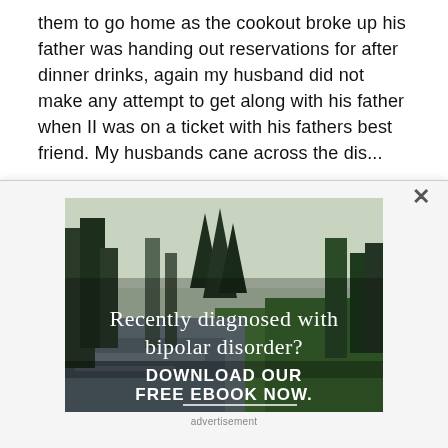them to go home as the cookout broke up his father was handing out reservations for after dinner drinks, again my husband did not make any attempt to get along with his father when II was on a ticket with his fathers best friend. My husbands cane across the dis...
[Figure (photo): Forest scene with river and trees, advertisement image. Text overlay: 'Recently diagnosed with bipolar disorder? DOWNLOAD OUR FREE EBOOK NOW.' with a horizontal white line below the ebook text.]
advertisement